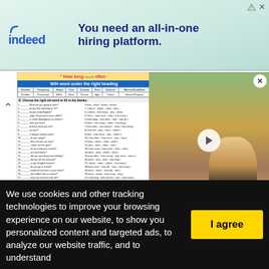[Figure (screenshot): Indeed hiring platform advertisement banner with logo and slogan 'You need an all-in-one hiring platform.']
[Figure (screenshot): Worksheet thumbnail showing W/H questions exercise with table headers: Duration, Frequency, Height, Time, Quantity, Price, Distance, Manner/Doubt/Idea — and fill-in-the-blank exercises on left and right columns]
w/h questions
Level: elementary
Age: 13-17
Downloads: 443
[Figure (photo): Video thumbnail showing person jogging with play button overlay]
We use cookies and other tracking technologies to improve your browsing experience on our website, to show you personalized content and targeted ads, to analyze our website traffic, and to understand